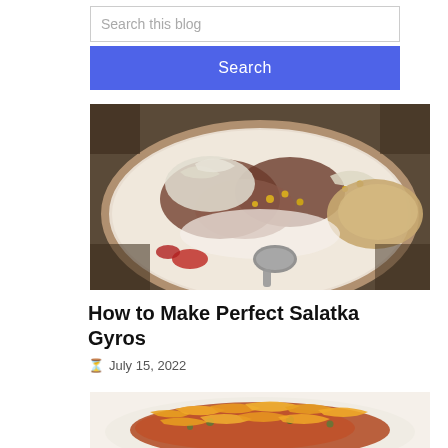Search this blog
Search
[Figure (photo): A plate of Salatka Gyros food - shredded meat and vegetables on a decorative plate with a spoon]
How to Make Perfect Salatka Gyros
July 15, 2022
[Figure (photo): A plate of food with shredded orange cheese on top of meat and vegetables]